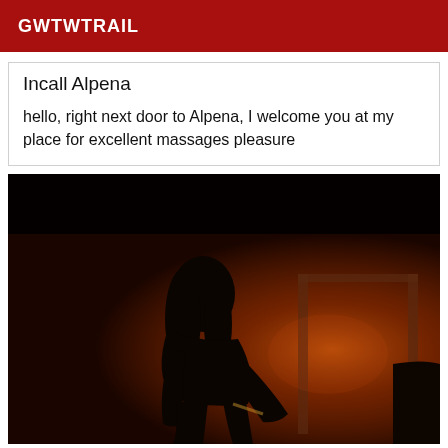GWTWTRAIL
Incall Alpena
hello, right next door to Alpena, I welcome you at my place for excellent massages pleasure
[Figure (photo): Dark silhouette of a person leaning over another figure in a warmly lit room with reddish-orange tones, suggesting a massage scene.]